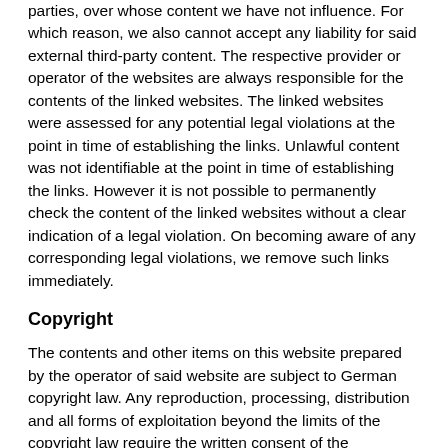parties, over whose content we have not influence. For which reason, we also cannot accept any liability for said external third-party content. The respective provider or operator of the websites are always responsible for the contents of the linked websites. The linked websites were assessed for any potential legal violations at the point in time of establishing the links. Unlawful content was not identifiable at the point in time of establishing the links. However it is not possible to permanently check the content of the linked websites without a clear indication of a legal violation. On becoming aware of any corresponding legal violations, we remove such links immediately.
Copyright
The contents and other items on this website prepared by the operator of said website are subject to German copyright law. Any reproduction, processing, distribution and all forms of exploitation beyond the limits of the copyright law require the written consent of the respective writer or designer. Downloads and copies from this website are only permitted for private, non-commercial use. To the extent that content on this website has not been prepared by the operator, the copyright rights of third parties are complied with. In particular, content from third parties is indicated as such. However, despite this, should you become aware of a copyright violation, we would request you to forward the